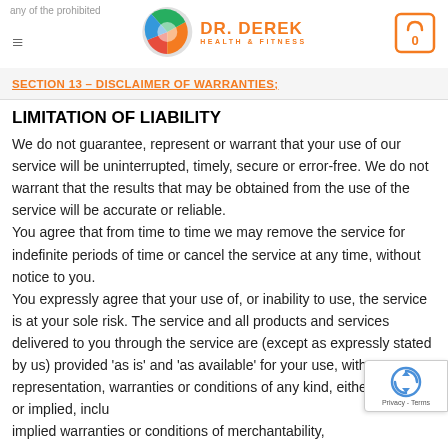any of the prohibited | DR. DEREK HEALTH & FITNESS | [cart: 0]
SECTION 13 – DISCLAIMER OF WARRANTIES;
LIMITATION OF LIABILITY
We do not guarantee, represent or warrant that your use of our service will be uninterrupted, timely, secure or error-free. We do not warrant that the results that may be obtained from the use of the service will be accurate or reliable. You agree that from time to time we may remove the service for indefinite periods of time or cancel the service at any time, without notice to you. You expressly agree that your use of, or inability to use, the service is at your sole risk. The service and all products and services delivered to you through the service are (except as expressly stated by us) provided 'as is' and 'as available' for your use, without any representation, warranties or conditions of any kind, either express or implied, including implied warranties or conditions of merchantability,